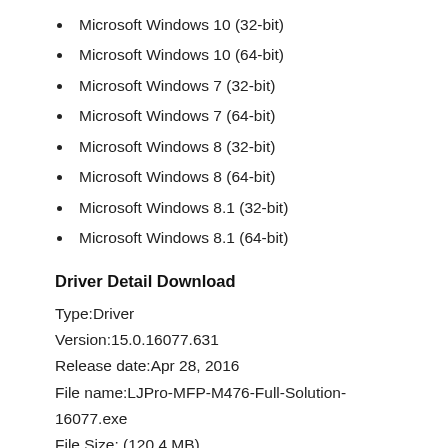Microsoft Windows 10 (32-bit)
Microsoft Windows 10 (64-bit)
Microsoft Windows 7 (32-bit)
Microsoft Windows 7 (64-bit)
Microsoft Windows 8 (32-bit)
Microsoft Windows 8 (64-bit)
Microsoft Windows 8.1 (32-bit)
Microsoft Windows 8.1 (64-bit)
Driver Detail Download
Type:Driver
Version:15.0.16077.631
Release date:Apr 28, 2016
File name:LJPro-MFP-M476-Full-Solution-16077.exe
File Size: (120.4 MB)
Download
HP Color LaserJet Pro MFP M476 Printer